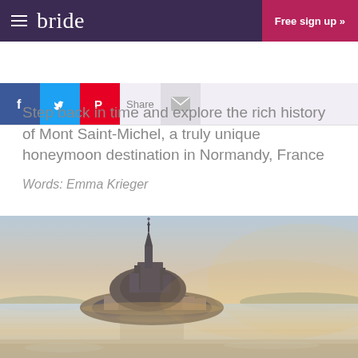bride | Free sign up »
Step back in time and explore the rich history of Mont Saint-Michel, a truly unique honeymoon destination in Normandy, France
Words: Emma Krieger
[Figure (photo): Aerial/wide view of Mont Saint-Michel, the medieval tidal island and abbey in Normandy, France, at sunset/golden hour, reflected in calm water surrounding the island.]